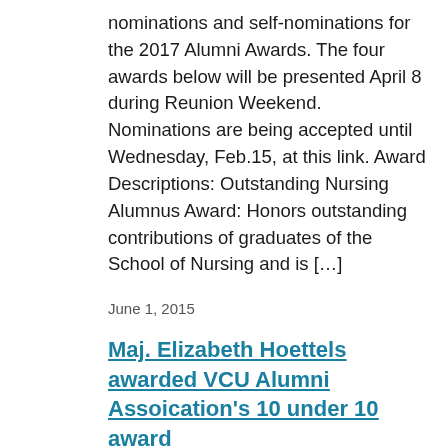nominations and self-nominations for the 2017 Alumni Awards. The four awards below will be presented April 8 during Reunion Weekend. Nominations are being accepted until Wednesday, Feb.15, at this link. Award Descriptions: Outstanding Nursing Alumnus Award: Honors outstanding contributions of graduates of the School of Nursing and is […]
June 1, 2015
Maj. Elizabeth Hoettels awarded VCU Alumni Assoication's 10 under 10 award